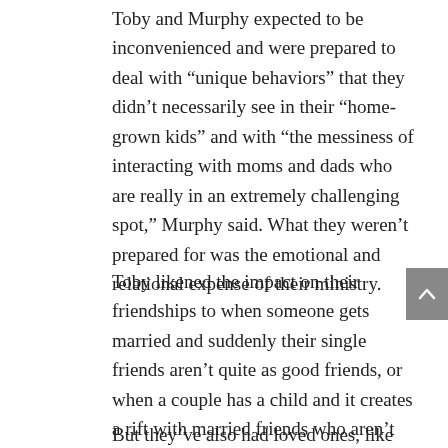Toby and Murphy expected to be inconvenienced and were prepared to deal with “unique behaviors” that they didn’t necessarily see in their “homegrown kids” and with “the messiness of interacting with moms and dads who are really in an extremely challenging spot,” Murphy said. What they weren’t prepared for was the emotional and relational expense of their ministry.
Toby likened the impact on their friendships to when someone gets married and suddenly their single friends aren’t quite as good friends, or when a couple has a child and it creates a rift with married friends who aren’t yet parents. “You do pay a price in awkwardness … or lack of empathy, because it is a different experience than what the typical family in America is striving for,” he said.
But they’ve also had loved ones, like Toby’s parents